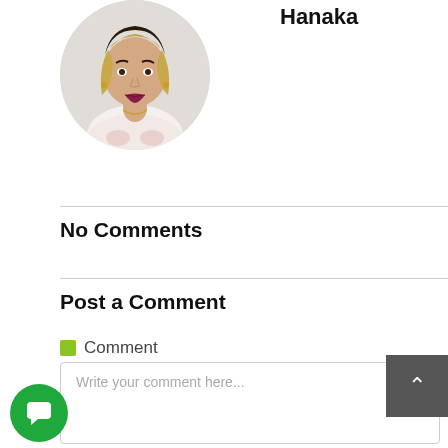[Figure (photo): Circular profile photo of a woman with blonde and dark hair, wearing a floral top, smiling with purple lipstick]
Hanaka
No Comments
Post a Comment
Comment
Write your comment here...